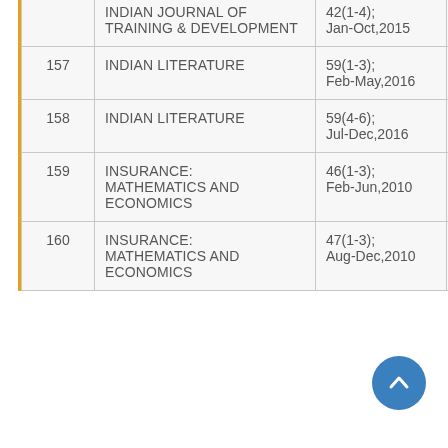| # | Journal Name | Volume/Issue/Date | Acc No |
| --- | --- | --- | --- |
|  | INDIAN JOURNAL OF TRAINING & DEVELOPMENT | 42(1-4); Jan-Oct,2015 | BV... |
| 157 | INDIAN LITERATURE | 59(1-3); Feb-May,2016 | BV494 |
| 158 | INDIAN LITERATURE | 59(4-6); Jul-Dec,2016 | BV495 |
| 159 | INSURANCE: MATHEMATICS AND ECONOMICS | 46(1-3); Feb-Jun,2010 | BV9 |
| 160 | INSURANCE: MATHEMATICS AND ECONOMICS | 47(1-3); Aug-Dec,2010 | BV10 |